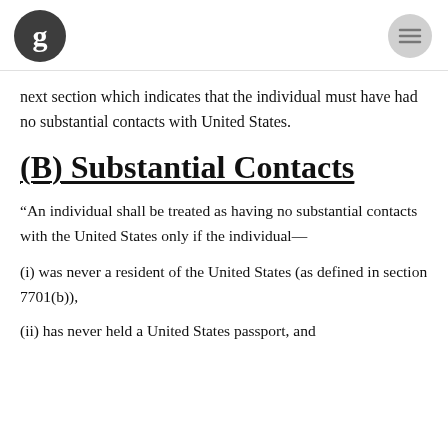The Guardian logo and menu icon
next section which indicates that the individual must have had no substantial contacts with United States.
(B) Substantial Contacts
“An individual shall be treated as having no substantial contacts with the United States only if the individual—
(i) was never a resident of the United States (as defined in section 7701(b)),
(ii) has never held a United States passport, and